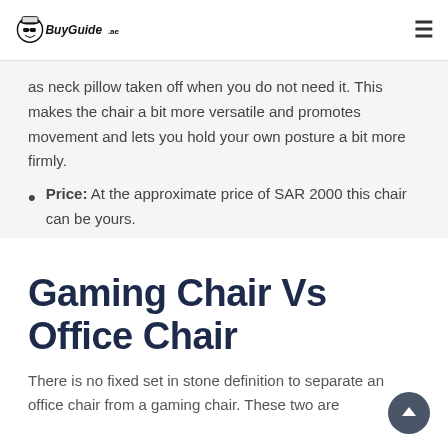BuyGuide.ae
as neck pillow taken off when you do not need it. This makes the chair a bit more versatile and promotes movement and lets you hold your own posture a bit more firmly.
Price: At the approximate price of SAR 2000 this chair can be yours.
Gaming Chair Vs Office Chair
There is no fixed set in stone definition to separate an office chair from a gaming chair. These two are